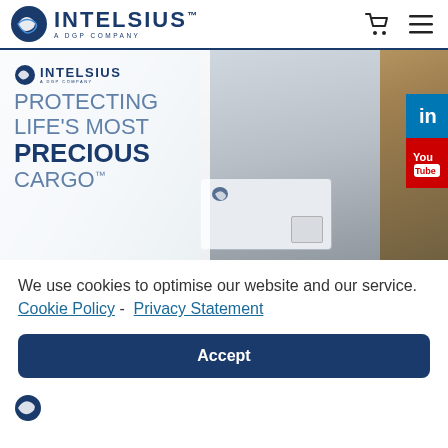INTELSIUS™ A DGP COMPANY
[Figure (photo): Delivery courier handing an Intelsius branded package out of a van. Van has Intelsius branding with text 'Protecting Life's Most Precious Cargo™'. Social media icons for LinkedIn and YouTube visible on the right edge.]
We use cookies to optimise our website and our service.  Cookie Policy - Privacy Statement
Accept
[Figure (logo): Partial Intelsius logo at bottom of page]